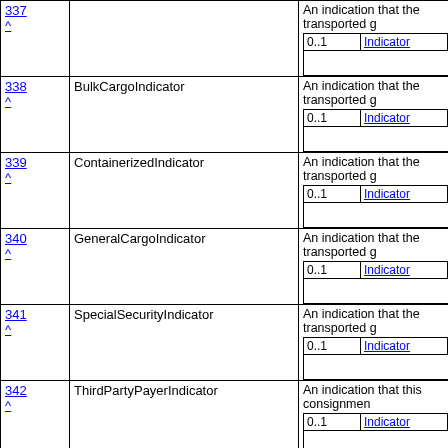| ID | Name | Description/Cardinality/Type |
| --- | --- | --- |
| 338 ^ | BulkCargoIndicator | An indication that the transported g... | 0..1 | Indicator |
| 339 ^ | ContainerizedIndicator | An indication that the transported g... | 0..1 | Indicator |
| 340 ^ | GeneralCargoIndicator | An indication that the transported g... | 0..1 | Indicator |
| 341 ^ | SpecialSecurityIndicator | An indication that the transported g... | 0..1 | Indicator |
| 342 ^ | ThirdPartyPayerIndicator | An indication that this consignment... | 0..1 | Indicator |
| 343 ^ | CarrierServiceInstructions | Service instructions to the carrier, e... | 0..n | Text |